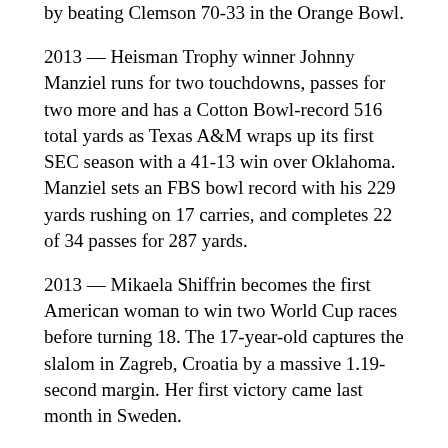by beating Clemson 70-33 in the Orange Bowl.
2013 — Heisman Trophy winner Johnny Manziel runs for two touchdowns, passes for two more and has a Cotton Bowl-record 516 total yards as Texas A&M wraps up its first SEC season with a 41-13 win over Oklahoma. Manziel sets an FBS bowl record with his 229 yards rushing on 17 carries, and completes 22 of 34 passes for 287 yards.
2013 — Mikaela Shiffrin becomes the first American woman to win two World Cup races before turning 18. The 17-year-old captures the slalom in Zagreb, Croatia by a massive 1.19-second margin. Her first victory came last month in Sweden.
2014 — Andrew Luck throws four second-half touchdown passes and scores on a fumble recovery, leading the Indianapolis Colts from a four-TD deficit to an historic 45-44 comeback victory over the Kansas City Chiefs in a wild-card game. It was the second